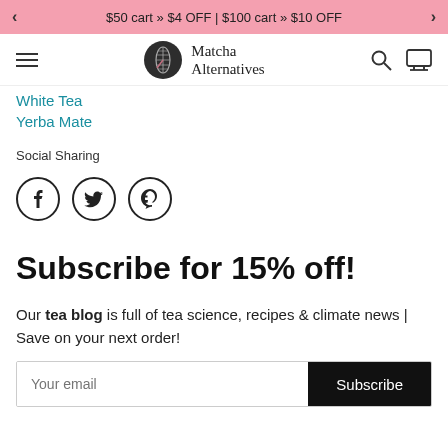< $50 cart » $4 OFF | $100 cart » $10 OFF >
[Figure (logo): Matcha Alternatives logo with dark circular leaf icon and text 'Matcha Alternatives']
White Tea
Yerba Mate
Social Sharing
[Figure (infographic): Social sharing icons: Facebook (f), Twitter (bird), Pinterest (p) — each in a circle outline]
Subscribe for 15% off!
Our tea blog is full of tea science, recipes & climate news | Save on your next order!
Your email  Subscribe